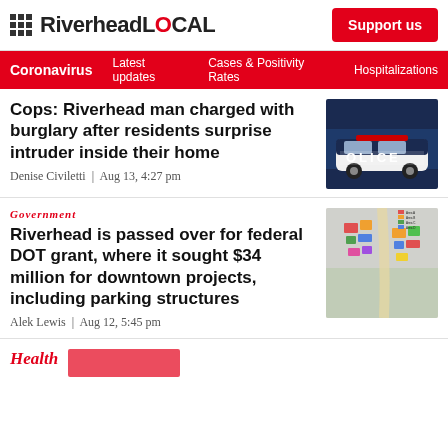RiverheadLOCAL | Support us
Coronavirus | Latest updates | Cases & Positivity Rates | Hospitalizations
Cops: Riverhead man charged with burglary after residents surprise intruder inside their home
Denise Civiletti | Aug 13, 4:27 pm
[Figure (photo): Police vehicle with POLICE text visible on the side]
Government
Riverhead is passed over for federal DOT grant, where it sought $34 million for downtown projects, including parking structures
Alek Lewis | Aug 12, 5:45 pm
[Figure (map): Aerial map/plan view of downtown Riverhead development project with colored sections]
Health